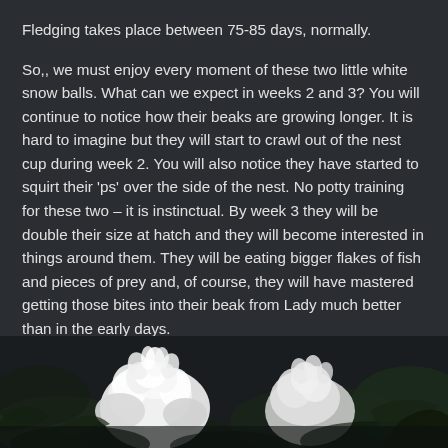Fledging takes place between 75-85 days, normally.
So,, we must enjoy every moment of these two little white snow balls. What can we expect in weeks 2 and 3? You will continue to notice how their beaks are growing longer. It is hard to imagine but they will start to crawl out of the nest cup during week 2. You will also notice they have started to squirt their ‘ps’ over the side of the nest. No potty training for these two – it is instinctual. By week 3 they will be double their size at hatch and they will become interested in things around them. They will be eating bigger flakes of fish and pieces of prey and, of course, they will have mastered getting those bites into their beak from Lady much better than in the early days.
[Figure (photo): Photo of white fluffy bird chicks in a nest with dark foliage background]